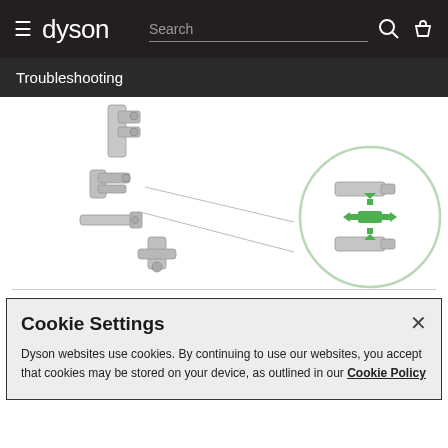dyson — Search
Troubleshooting
[Figure (illustration): Dyson vacuum accessory parts diagram showing multiple attachments on the left and a circular close-up detail showing connection mechanism with green arrows indicating direction of movement in the center-right area.]
Cookie Settings
Dyson websites use cookies. By continuing to use our websites, you accept that cookies may be stored on your device, as outlined in our Cookie Policy